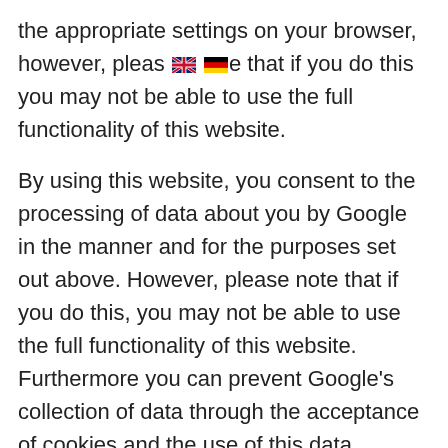the appropriate settings on your browser, however, please note that if you do this you may not be able to use the full functionality of this website.
By using this website, you consent to the processing of data about you by Google in the manner and for the purposes set out above. However, please note that if you do this, you may not be able to use the full functionality of this website. Furthermore you can prevent Google's collection of data through the acceptance of cookies and the use of this data (including your IP address) by downloading and installing the browser plug-in available under this link.